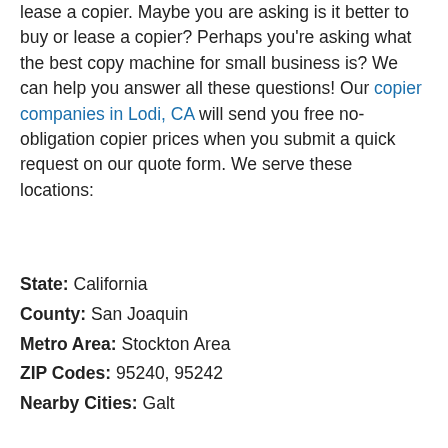lease a copier. Maybe you are asking is it better to buy or lease a copier? Perhaps you're asking what the best copy machine for small business is? We can help you answer all these questions! Our copier companies in Lodi, CA will send you free no-obligation copier prices when you submit a quick request on our quote form. We serve these locations:
State: California
County: San Joaquin
Metro Area: Stockton Area
ZIP Codes: 95240, 95242
Nearby Cities: Galt
Copier Printer Leases in Lodi, CA
Our copier dealers in Lodi, CA can send you copier reviews and pricing for these products and services: